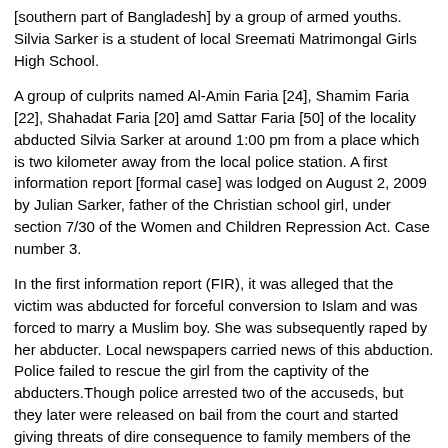[southern part of Bangladesh] by a group of armed youths. Silvia Sarker is a student of local Sreemati Matrimongal Girls High School.
A group of culprits named Al-Amin Faria [24], Shamim Faria [22], Shahadat Faria [20] amd Sattar Faria [50] of the locality abducted Silvia Sarker at around 1:00 pm from a place which is two kilometer away from the local police station. A first information report [formal case] was lodged on August 2, 2009 by Julian Sarker, father of the Christian school girl, under section 7/30 of the Women and Children Repression Act. Case number 3.
In the first information report (FIR), it was alleged that the victim was abducted for forceful conversion to Islam and was forced to marry a Muslim boy. She was subsequently raped by her abducter. Local newspapers carried news of this abduction. Police failed to rescue the girl from the captivity of the abducters.Though police arrested two of the accuseds, but they later were released on bail from the court and started giving threats of dire consequence to family members of the abducted girl.